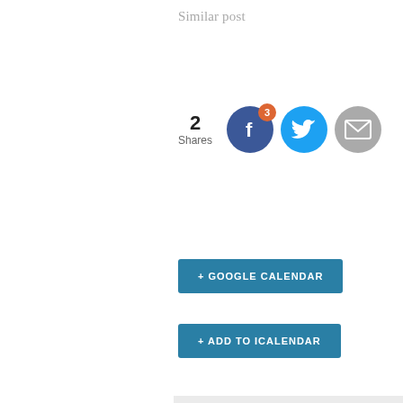Similar post
[Figure (infographic): Social sharing widget showing 2 Shares with Facebook (badge: 3), Twitter, and Email icon buttons]
+ GOOGLE CALENDAR
+ ADD TO ICALENDAR
Details
Date:
Sat. June 4th
Time:
8:00pm - 10:00pm
Event Category:
LIVE Music
Website:
https://www.eventbrite.com/e/an-